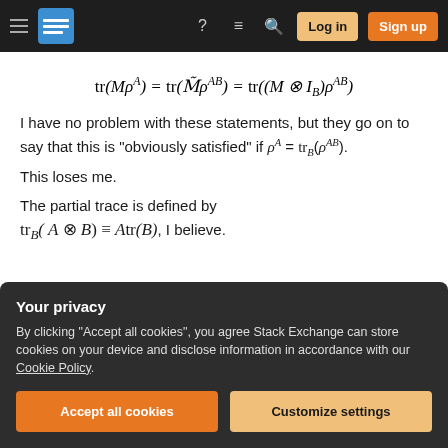[Figure (screenshot): Stack Exchange navigation bar with hamburger menu, logo, help icon, chat icon, search icon, login and sign up buttons]
I have no problem with these statements, but they go on to say that this is "obviously satisfied" if ρ^A = tr_B(ρ^AB).
This loses me.
The partial trace is defined by tr_B(A ⊗ B) ≡ Atr(B), I believe.
Your privacy
By clicking "Accept all cookies", you agree Stack Exchange can store cookies on your device and disclose information in accordance with our Cookie Policy.
Accept all cookies
Customize settings